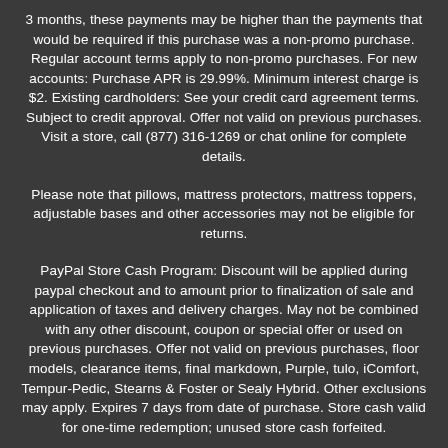3 months, these payments may be higher than the payments that would be required if this purchase was a non-promo purchase. Regular account terms apply to non-promo purchases. For new accounts: Purchase APR is 29.99%. Minimum interest charge is $2. Existing cardholders: See your credit card agreement terms. Subject to credit approval. Offer not valid on previous purchases. Visit a store, call (877) 316-1269 or chat online for complete details.
Please note that pillows, mattress protectors, mattress toppers, adjustable bases and other accessories may not be eligible for returns.
PayPal Store Cash Program: Discount will be applied during paypal checkout and to amount prior to finalization of sale and application of taxes and delivery charges. May not be combined with any other discount, coupon or special offer or used on previous purchases. Offer not valid on previous purchases, floor models, clearance items, final markdown, Purple, tulo, iComfort, Tempur-Pedic, Stearns & Foster or Sealy Hybrid. Other exclusions may apply. Expires 7 days from date of purchase. Store cash valid for one-time redemption; unused store cash forfeited.
Military, Education, Medical and First Responder discount: Save